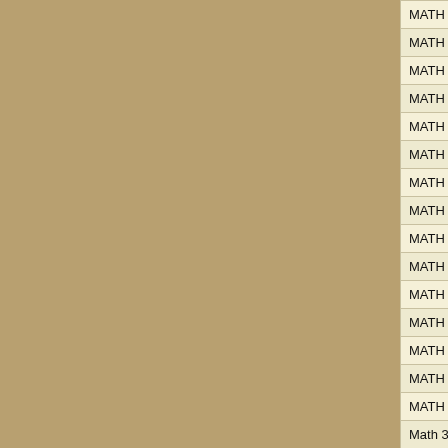| Course | Instructor | Type |
| --- | --- | --- |
| MATH 112L.01L | Ryu, Hwayeon | LAB |
| MATH 112L.02 | Williams, Sarah | LAB |
| MATH 112L.02L | Williams, Sarah | LAB |
| MATH 122L.01 | Schott, Sarah | INTI |
| MATH 122L.01L | Schott, Sarah | INTI |
| MATH 122L.02 | Schott, Sarah | INTI |
| MATH 122L.02L | Schott, Sarah | INTI |
| MATH 122L.03 | Huang, Jingxian | INTI |
| MATH 122L.03L | Huang, Jingxian | INTI |
| MATH 122L.04 | Watanabe, Tatsunari | INTI |
| MATH 122L.04L | Watanabe, Tatsunari | INTI |
| MATH 122L.05 | Venkatesh, Anil | INTI |
| MATH 122L.05L | Venkatesh, Anil | INTI |
| MATH 122L.06 | Leverson, Caitlin | INTI |
| MATH 122L.06L | Leverson, Caitlin | INTI |
| Math 3415.07 | Xu, Hangjun | Mat |
| MATH 122L.07L | Xu, Hangjun | INTI |
| MATH 122L.08 | Andreae, Phillip | INTI |
| MATH 122L.08L | Andreae, Phillip | INTI |